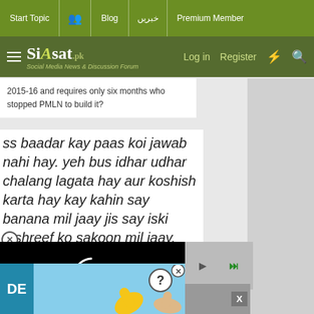Start Topic | Blog | خبریں | Premium Member
Siasat.pk — Log in | Register
2015-16 and requires only six months who stopped PMLN to build it?
ss baadar kay paas koi jawab nahi hay. yeh bus idhar udhar chalang lagata hay aur koshish karta hay kay kahin say banana mil jaay jis say iski tashreef ko sakoon mil jaay.
[Figure (screenshot): Video player overlay showing a loading spinner (partial white circle arc) on a black background, with playback controls and an advertisement banner below showing cartoon hands and 'DE' text.]